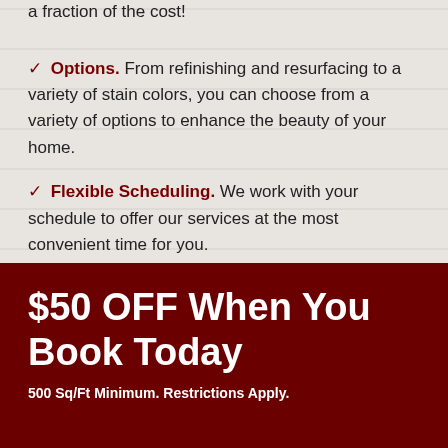a fraction of the cost!
✓ Options. From refinishing and resurfacing to a variety of stain colors, you can choose from a variety of options to enhance the beauty of your home.
✓ Flexible Scheduling. We work with your schedule to offer our services at the most convenient time for you.
✓ Worry Free. Our employees are trained
$50 OFF When You Book Today
500 Sq/Ft Minimum. Restrictions Apply.